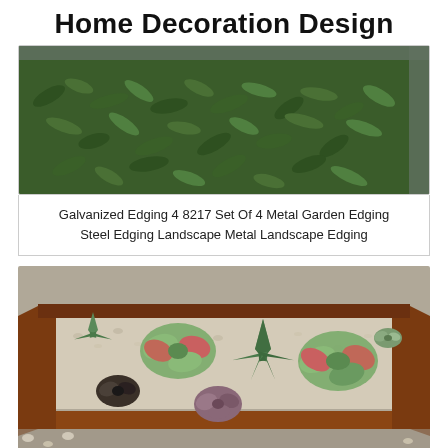Home Decoration Design
[Figure (photo): Overhead view of low green ground cover plants with metal edging visible at top and right edges]
Galvanized Edging 4 8217 Set Of 4 Metal Garden Edging Steel Edging Landscape Metal Landscape Edging
[Figure (photo): A raised rectangular garden bed with rusty Corten steel edging filled with white gravel and various succulents including echeveria rosettes and agave plants]